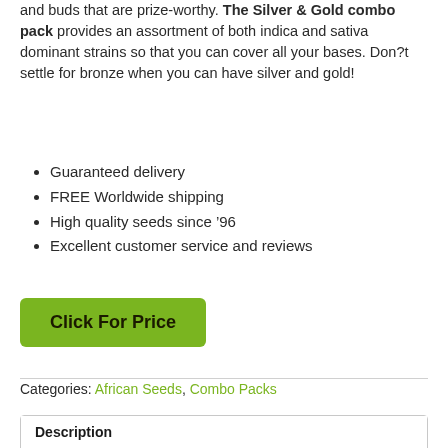and buds that are prize-worthy. The Silver & Gold combo pack provides an assortment of both indica and sativa dominant strains so that you can cover all your bases. Don?t settle for bronze when you can have silver and gold!
Guaranteed delivery
FREE Worldwide shipping
High quality seeds since '96
Excellent customer service and reviews
Click For Price
Categories: African Seeds, Combo Packs
Description
Reviews (0)
Description